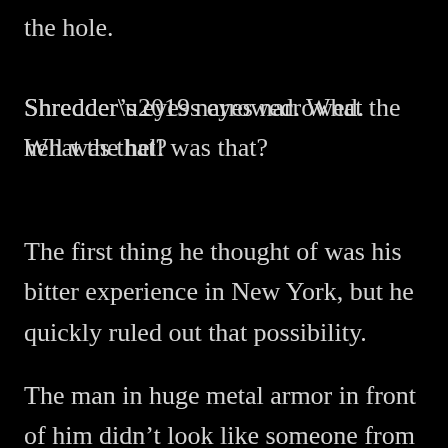Then, an enormous figure crawled out of the hole.
Shredder’s eyes narrowed. What the hell was that?
The first thing he thought of was his bitter experience in New York, but he quickly ruled out that possibility.
The man in huge metal armor in front of him didn’t look like someone from th⚙ Bat↑